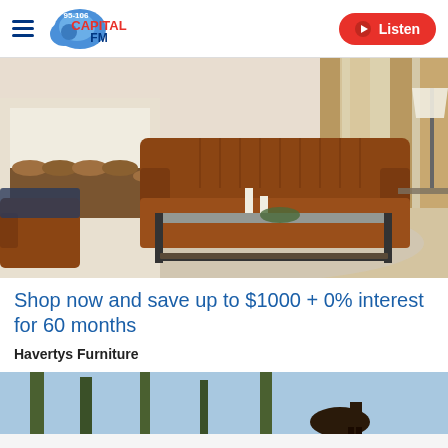95-106 Capital FM | Listen
[Figure (photo): Living room scene with brown leather sofa, glass-top coffee table with metal frame, decorative items, area rug, and fireplace with stacked logs]
Shop now and save up to $1000 + 0% interest for 60 months
Havertys Furniture
[Figure (photo): Outdoor scene with trees and blue sky, partial view]